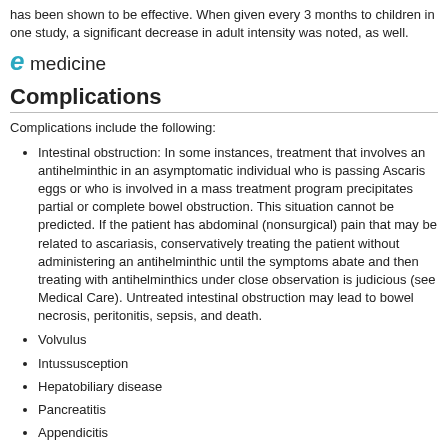has been shown to be effective. When given every 3 months to children in one study, a significant decrease in adult intensity was noted, as well.
[Figure (logo): eMedicine logo with stylized 'e' in teal/blue and 'medicine' in dark text]
Complications
Complications include the following:
Intestinal obstruction: In some instances, treatment that involves an antihelminthic in an asymptomatic individual who is passing Ascaris eggs or who is involved in a mass treatment program precipitates partial or complete bowel obstruction. This situation cannot be predicted. If the patient has abdominal (nonsurgical) pain that may be related to ascariasis, conservatively treating the patient without administering an antihelminthic until the symptoms abate and then treating with antihelminthics under close observation is judicious (see Medical Care). Untreated intestinal obstruction may lead to bowel necrosis, peritonitis, sepsis, and death.
Volvulus
Intussusception
Hepatobiliary disease
Pancreatitis
Appendicitis
Bowel perforation